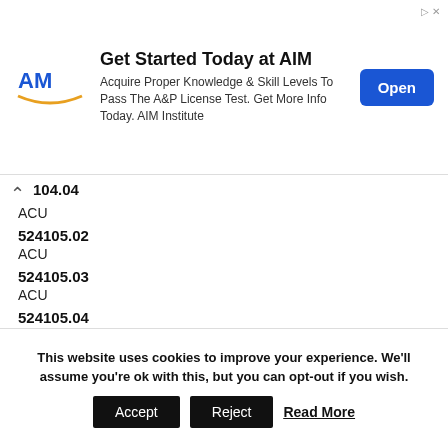[Figure (infographic): AIM Institute advertisement banner. Logo on left, text 'Get Started Today at AIM' with subtext 'Acquire Proper Knowledge & Skill Levels To Pass The A&P License Test. Get More Info Today. AIM Institute', blue Open button on right.]
104.04
ACU
524105.02
ACU
524105.03
ACU
524105.04
| ACU | Operator | Rear Hitch Control Lever Circuit |
| 524212.02 | Controls | Problem. Have John Deere |
| ACU |  | dealer repair at earliest |
This website uses cookies to improve your experience. We'll assume you're ok with this, but you can opt-out if you wish.